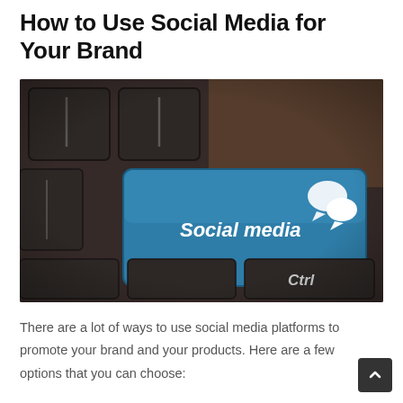How to Use Social Media for Your Brand
[Figure (photo): Close-up photo of a dark keyboard with a blue key labeled 'Social media' featuring chat bubble icons, and a 'Ctrl' key visible in the lower right.]
There are a lot of ways to use social media platforms to promote your brand and your products. Here are a few options that you can choose: